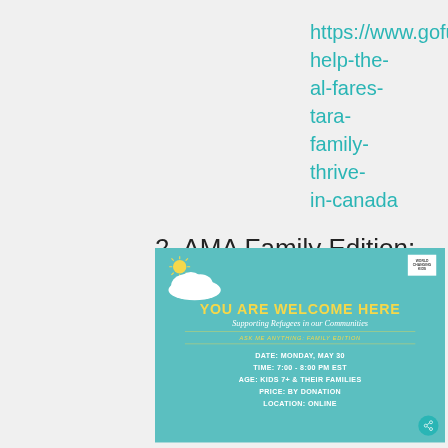https://www.gofundme.com/f/aqrcj-help-the-al-fares-tara-family-thrive-in-canada
2. AMA Family Edition: Supporting Refugees in our Communities
[Figure (infographic): Teal-colored event flyer for 'You Are Welcome Here: Supporting Refugees in our Communities - Ask Me Anything: Family Edition'. Shows a sun and cloud graphic, World Changers Kids logo, event details: Date: Monday, May 30, Time: 7:00 - 8:00 PM EST, Age: Kids 7+ & Their Families, Price: By Donation, Location: Online. Share button visible bottom right.]